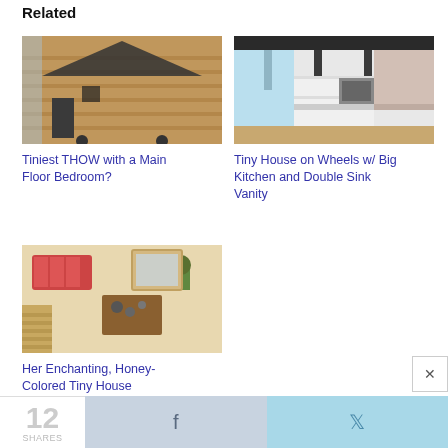Related
[Figure (photo): Tiny house on wheels with wood siding exterior]
Tiniest THOW with a Main Floor Bedroom?
[Figure (photo): Interior of a tiny house on wheels with big kitchen and double sink vanity]
Tiny House on Wheels w/ Big Kitchen and Double Sink Vanity
[Figure (photo): Overhead view of honey-colored tiny house interior with red sofa and living area]
Her Enchanting, Honey-Colored Tiny House
12
SHARES